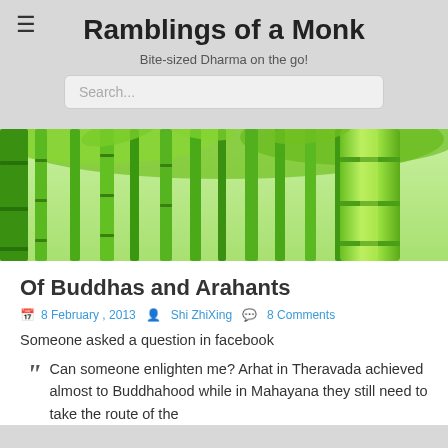Ramblings of a Monk
Bite-sized Dharma on the go!
[Figure (photo): Photo of dense green bamboo forest, shot from below looking up, with tall green bamboo stalks filling the frame and bright green foliage at the top.]
Of Buddhas and Arahants
8 February , 2013  Shi ZhiXing  8 Comments
Someone asked a question in facebook
Can someone enlighten me? Arhat in Theravada achieved almost to Buddhahood while in Mahayana they still need to take the route of the